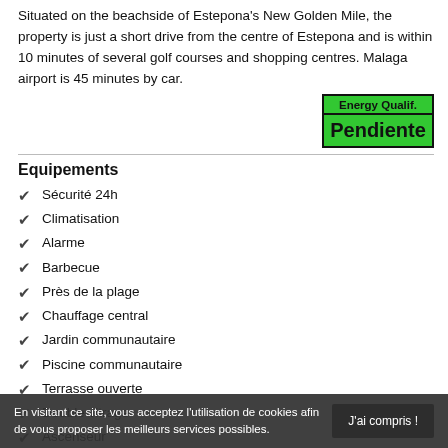Situated on the beachside of Estepona's New Golden Mile, the property is just a short drive from the centre of Estepona and is within 10 minutes of several golf courses and shopping centres. Malaga airport is 45 minutes by car.
[Figure (infographic): Energy qualification badge with green background showing 'Energy Qualif.' at top and 'Pendiente' in bold below, with black border.]
Equipements
Sécurité 24h
Climatisation
Alarme
Barbecue
Près de la plage
Chauffage central
Jardin communautaire
Piscine communautaire
Terrasse ouverte
Double vitrage
Ascenseur
Armoires encastrées
En visitant ce site, vous acceptez l'utilisation de cookies afin de vous proposer les meilleurs services possibles.